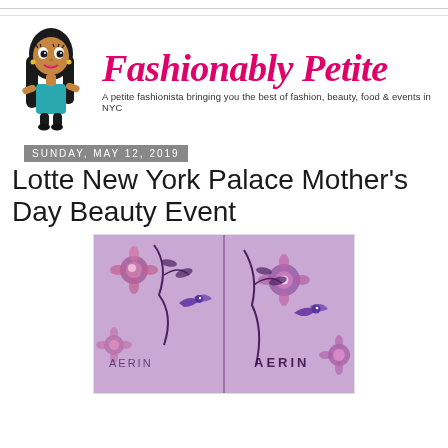[Figure (logo): Fashionably Petite blog logo with animated cartoon mascot (petite fashionista character) and cursive pink script title, tagline below]
Sunday, May 12, 2019
Lotte New York Palace Mother's Day Beauty Event
[Figure (photo): Purple floral background with AERIN branded perfume or product boxes showing botanical flower and bird pattern in purple/mauve tones]